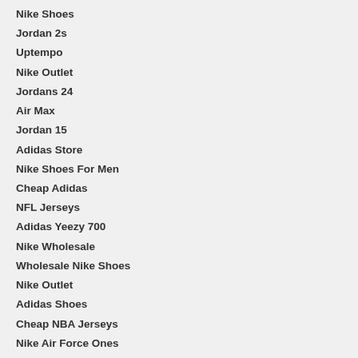Nike Shoes
Jordan 2s
Uptempo
Nike Outlet
Jordans 24
Air Max
Jordan 15
Adidas Store
Nike Shoes For Men
Cheap Adidas
NFL Jerseys
Adidas Yeezy 700
Nike Wholesale
Wholesale Nike Shoes
Nike Outlet
Adidas Shoes
Cheap NBA Jerseys
Nike Air Force Ones
Fjallraven Kanken
Air Jordan 5 What The
Cheap Nikes
Christian Louboutin Shoes
Pandora Bracelet Charms